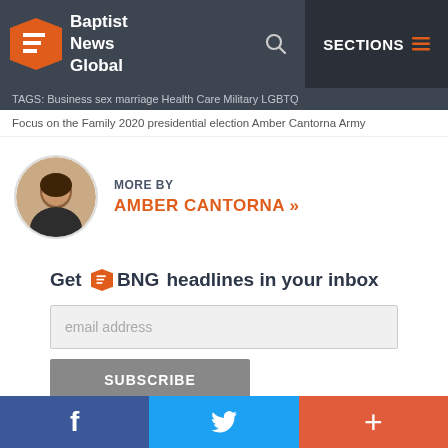Baptist News Global — SECTIONS
TAGS: Business  sex marriage  Health Care  Military  LGBTQ
Focus on the Family  2020 presidential election  Amber Cantorna  Army
MORE BY AMBER CANTORNA »
Get BNG headlines in your inbox — email address — SUBSCRIBE
FEATURED
f  Twitter  +